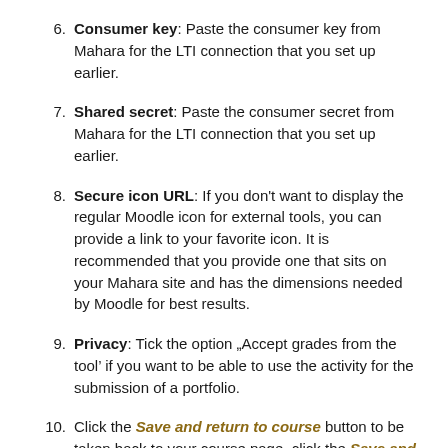6. Consumer key: Paste the consumer key from Mahara for the LTI connection that you set up earlier.
7. Shared secret: Paste the consumer secret from Mahara for the LTI connection that you set up earlier.
8. Secure icon URL: If you don't want to display the regular Moodle icon for external tools, you can provide a link to your favorite icon. It is recommended that you provide one that sits on your Mahara site and has the dimensions needed by Moodle for best results.
9. Privacy: Tick the option „Accept grades from the tool’ if you want to be able to use the activity for the submission of a portfolio.
10. Click the Save and return to course button to be taken back to your course page, click the Save and